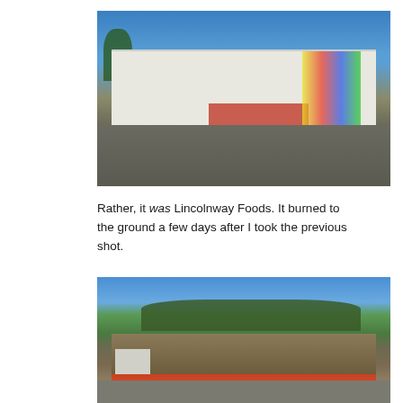[Figure (photo): Street-level photograph of Lincolnway Foods, a low white commercial building with colorful storefront signage, taken before a fire. Blue sky above, road in foreground.]
Rather, it was Lincolnway Foods. It burned to the ground a few days after I took the previous shot.
[Figure (photo): Photograph of the same location after a fire, showing rubble and debris where Lincolnway Foods stood, with trees visible behind, red construction fencing in foreground, blue sky above.]